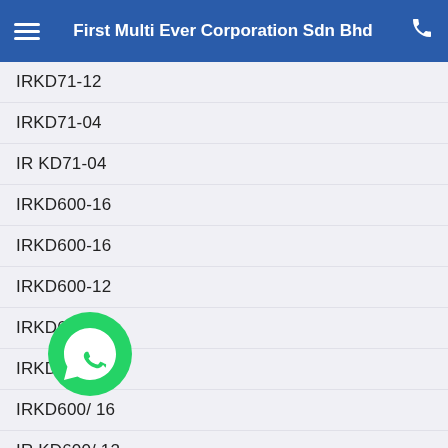First Multi Ever Corporation Sdn Bhd
IRKD71-12
IRKD71-04
IR KD71-04
IRKD600-16
IRKD600-16
IRKD600-12
IRKD600-12
IRKD600/ 16
IRKD600/ 16
IR KD600/ 12
IRKD600/ 12
IRKD56DY-2H
IRKD56DY-2H
IRKD56-16
IRKD56-16
IRKD56-12
IRKD56-12
IRKD56-12
IRKD56/ 12